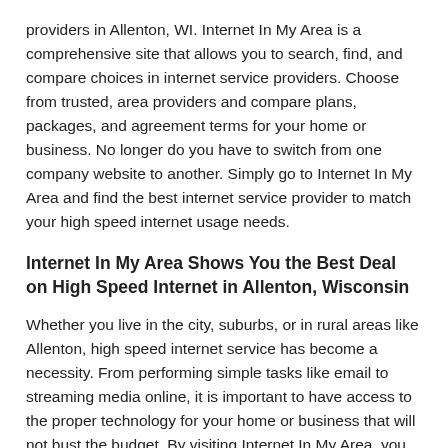providers in Allenton, WI. Internet In My Area is a comprehensive site that allows you to search, find, and compare choices in internet service providers. Choose from trusted, area providers and compare plans, packages, and agreement terms for your home or business. No longer do you have to switch from one company website to another. Simply go to Internet In My Area and find the best internet service provider to match your high speed internet usage needs.
Internet In My Area Shows You the Best Deal on High Speed Internet in Allenton, Wisconsin
Whether you live in the city, suburbs, or in rural areas like Allenton, high speed internet service has become a necessity. From performing simple tasks like email to streaming media online, it is important to have access to the proper technology for your home or business that will not bust the budget. By visiting Internet In My Area, you can view all the internet service providers in your area